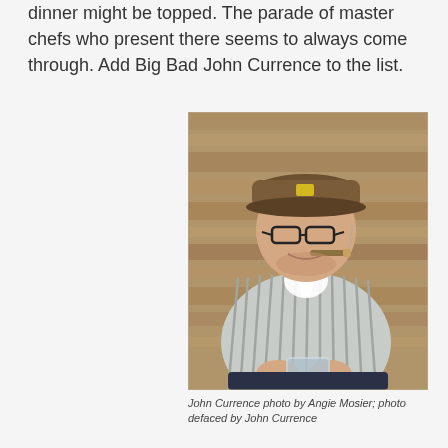dinner might be topped. The parade of master chefs who present there seems to always come through. Add Big Bad John Currence to the list.
[Figure (photo): Man wearing a brown baseball cap and glasses, smiling with a cigar in his mouth, holding a glass drink, wearing a striped shirt, seated against a wooden background.]
John Currence photo by Angie Mosier; photo defaced by John Currence